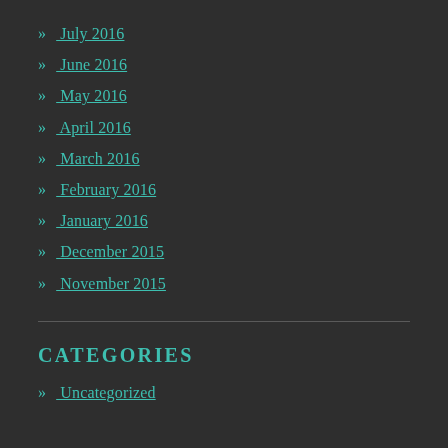» July 2016
» June 2016
» May 2016
» April 2016
» March 2016
» February 2016
» January 2016
» December 2015
» November 2015
CATEGORIES
» Uncategorized